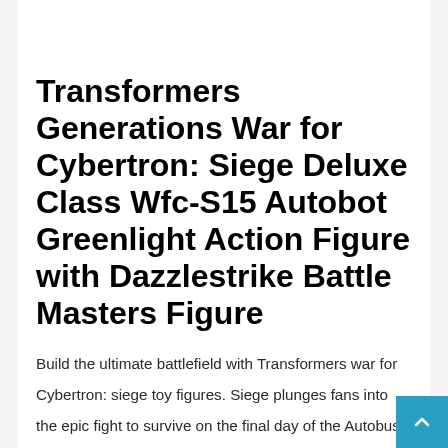Transformers Generations War for Cybertron: Siege Deluxe Class Wfc-S15 Autobot Greenlight Action Figure with Dazzlestrike Battle Masters Figure
Build the ultimate battlefield with Transformers war for Cybertron: siege toy figures. Siege plunges fans into the epic fight to survive on the final day of the Autobus and deception battle to control Cybertron. The Deception resistance army and the Autobus counter-resistance fighters gear up with the C.O.M.B.A.T. (Cybertronian omnifuctional modular battlefield assault Tech) system, the universe's most advanced modular weaponry. The Best Transformers Toys